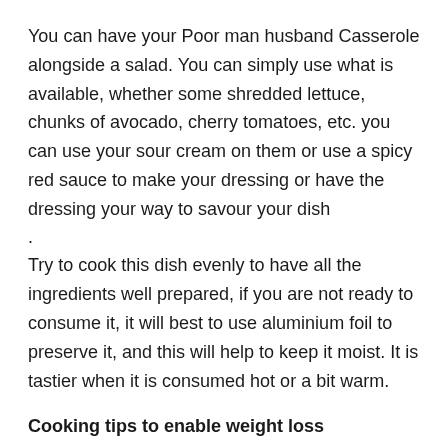You can have your Poor man husband Casserole alongside a salad. You can simply use what is available, whether some shredded lettuce, chunks of avocado, cherry tomatoes, etc. you can use your sour cream on them or use a spicy red sauce to make your dressing or have the dressing your way to savour your dish
.
Try to cook this dish evenly to have all the ingredients well prepared, if you are not ready to consume it, it will best to use aluminium foil to preserve it, and this will help to keep it moist. It is tastier when it is consumed hot or a bit warm.
Cooking tips to enable weight loss
Avoid adding more than necessary salt or sodium to your